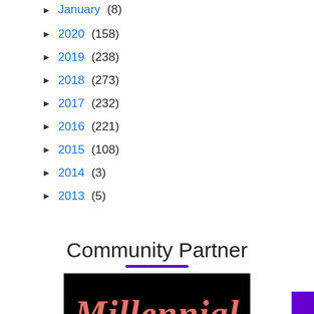► January (8)
► 2020 (158)
► 2019 (238)
► 2018 (273)
► 2017 (232)
► 2016 (221)
► 2015 (108)
► 2014 (3)
► 2013 (5)
Community Partner
[Figure (logo): Millennial logo in pink/coral script text on a black background]